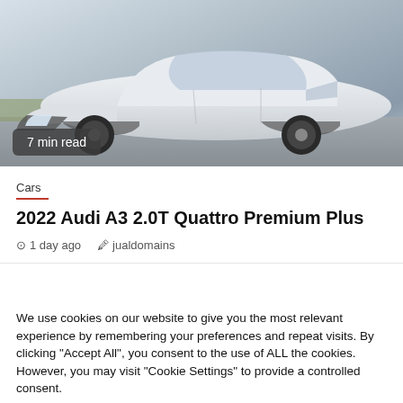[Figure (photo): A white Audi A3 2.0T Quattro vehicle photographed from the front-left side on a parking area, with a small badge showing '7 min read']
7 min read
Cars
2022 Audi A3 2.0T Quattro Premium Plus
1 day ago   jualdomains
We use cookies on our website to give you the most relevant experience by remembering your preferences and repeat visits. By clicking "Accept All", you consent to the use of ALL the cookies. However, you may visit "Cookie Settings" to provide a controlled consent.